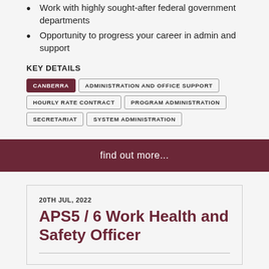Work with highly sought-after federal government departments
Opportunity to progress your career in admin and support
KEY DETAILS
CANBERRA | ADMINISTRATION AND OFFICE SUPPORT | HOURLY RATE CONTRACT | PROGRAM ADMINISTRATION | SECRETARIAT | SYSTEM ADMINISTRATION
find out more...
20TH JUL, 2022
APS5 / 6 Work Health and Safety Officer